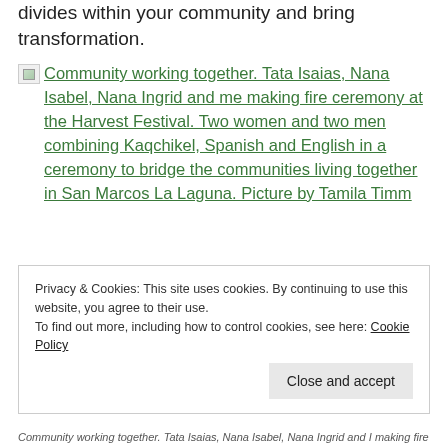divides within your community and bring transformation.
[Figure (photo): Community working together. Tata Isaias, Nana Isabel, Nana Ingrid and me making fire ceremony at the Harvest Festival. Two women and two men combining Kaqchikel, Spanish and English in a ceremony to bridge the communities living together in San Marcos La Laguna. Picture by Tamila Timm]
Privacy & Cookies: This site uses cookies. By continuing to use this website, you agree to their use.
To find out more, including how to control cookies, see here: Cookie Policy
Community working together. Tata Isaias, Nana Isabel, Nana Ingrid and I making fire